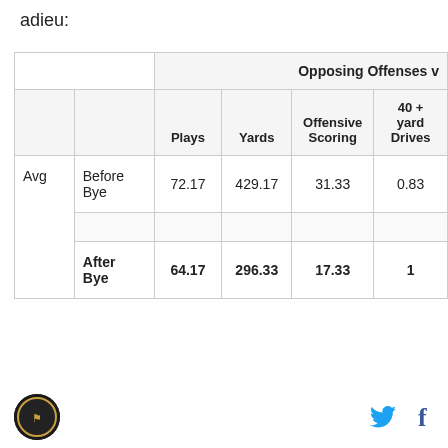adieu:
|  |  | Plays | Yards | Offensive Scoring | 40 + yard Drives |
| --- | --- | --- | --- | --- | --- |
| Avg | Before Bye | 72.17 | 429.17 | 31.33 | 0.83 |
|  |  |  |  |  |  |
|  | After Bye | 64.17 | 296.33 | 17.33 | 1 |
Logo | Twitter | Facebook